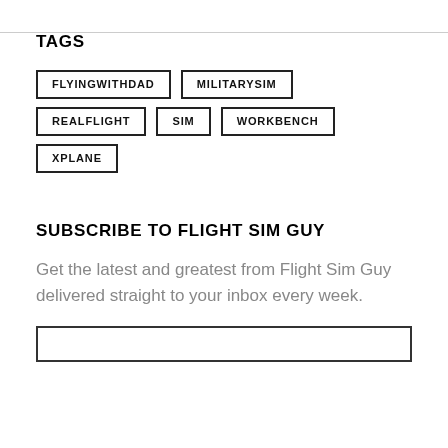TAGS
FLYINGWITHDAD
MILITARYSIM
REALFLIGHT
SIM
WORKBENCH
XPLANE
SUBSCRIBE TO FLIGHT SIM GUY
Get the latest and greatest from Flight Sim Guy delivered straight to your inbox every week.